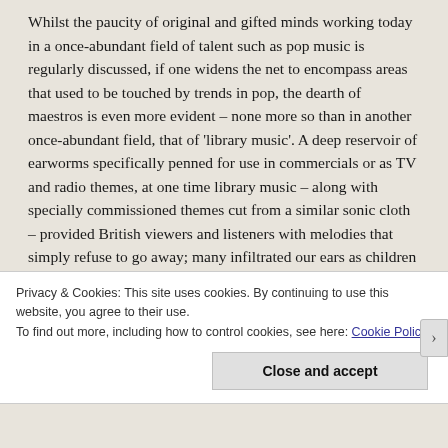Whilst the paucity of original and gifted minds working today in a once-abundant field of talent such as pop music is regularly discussed, if one widens the net to encompass areas that used to be touched by trends in pop, the dearth of maestros is even more evident – none more so than in another once-abundant field, that of 'library music'. A deep reservoir of earworms specifically penned for use in commercials or as TV and radio themes, at one time library music – along with specially commissioned themes cut from a similar sonic cloth – provided British viewers and listeners with melodies that simply refuse to go away; many infiltrated our ears as children and they're still there. Some of the most prolific composers responsible for these persistent portals to
Privacy & Cookies: This site uses cookies. By continuing to use this website, you agree to their use.
To find out more, including how to control cookies, see here: Cookie Policy
Close and accept